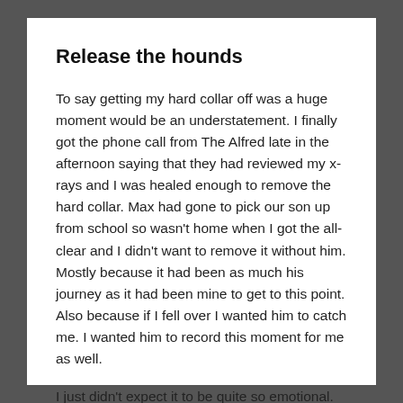Release the hounds
To say getting my hard collar off was a huge moment would be an understatement. I finally got the phone call from The Alfred late in the afternoon saying that they had reviewed my x-rays and I was healed enough to remove the hard collar. Max had gone to pick our son up from school so wasn't home when I got the all-clear and I didn't want to remove it without him. Mostly because it had been as much his journey as it had been mine to get to this point. Also because if I fell over I wanted him to catch me. I wanted him to record this moment for me as well.
I just didn't expect it to be quite so emotional.